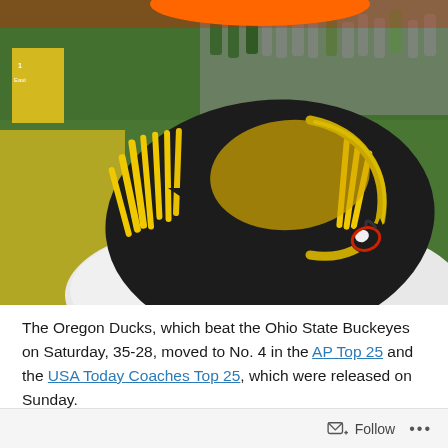[Figure (photo): Oregon Ducks mascot wearing a black and yellow star-patterned jacket with yellow fringe and a gold chain, holding a small toy horse with a red bridle, on a green football field with crowd in background and orange hat brim visible at top.]
The Oregon Ducks, which beat the Ohio State Buckeyes on Saturday, 35-28, moved to No. 4 in the AP Top 25 and the USA Today Coaches Top 25, which were released on Sunday.
Follow ...